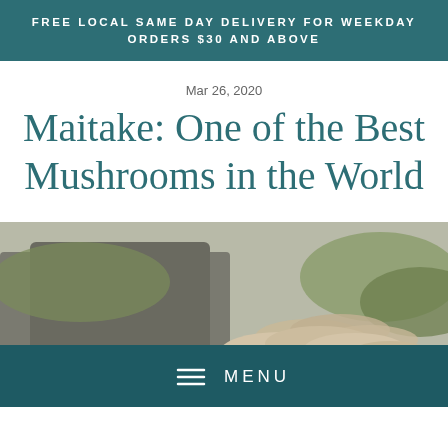FREE LOCAL SAME DAY DELIVERY FOR WEEKDAY ORDERS $30 AND ABOVE
Mar 26, 2020
Maitake: One of the Best Mushrooms in the World
[Figure (photo): Photo of maitake mushrooms growing near a log with green moss, partially covered by a dark teal menu bar overlay at the bottom showing a hamburger menu icon and the word MENU]